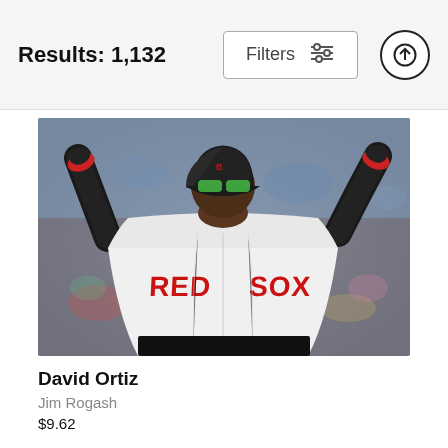Results: 1,132
[Figure (photo): David Ortiz, Boston Red Sox player wearing white Red Sox jersey, black batting gloves and helmet with green visor sunglasses, red wristbands, arms raised in celebration at Fenway Park with blurred crowd in background.]
David Ortiz
Jim Rogash
$9.62